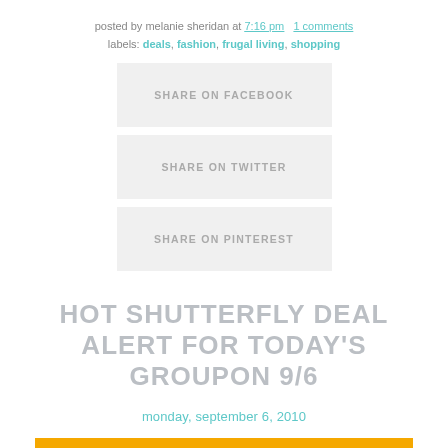posted by melanie sheridan at 7:16 pm   1 comments
labels: deals, fashion, frugal living, shopping
SHARE ON FACEBOOK
SHARE ON TWITTER
SHARE ON PINTEREST
HOT SHUTTERFLY DEAL ALERT FOR TODAY'S GROUPON 9/6
monday, september 6, 2010
[Figure (logo): Groupon logo on orange/yellow background]